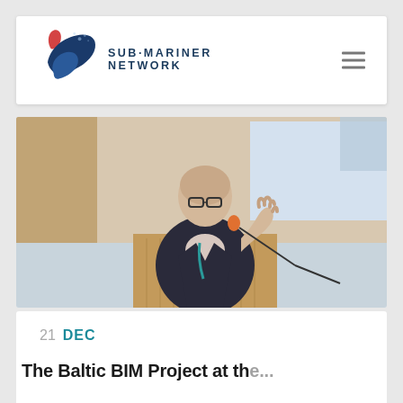[Figure (logo): SUBMARINER NETWORK logo with stylized blue and red wave/leaf design]
[Figure (photo): A bald man with glasses speaking at a podium with a microphone, gesturing with one hand, wearing a dark suit and teal lanyard, in a conference room setting]
21 DEC
The Baltic BIM Project at the...